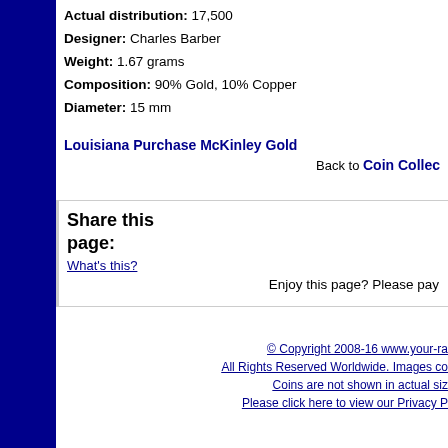Actual distribution: 17,500
Designer: Charles Barber
Weight: 1.67 grams
Composition: 90% Gold, 10% Copper
Diameter: 15 mm
Louisiana Purchase McKinley Gold [link]
Back to Coin Collec[tion link]
Share this page:
What's this?
Enjoy this page? Please pay
© Copyright 2008-16 www.your-ra[re-coins.com]
All Rights Reserved Worldwide. Images co[pyrighted]
Coins are not shown in actual siz[e]
Please click here to view our Privacy P[olicy]